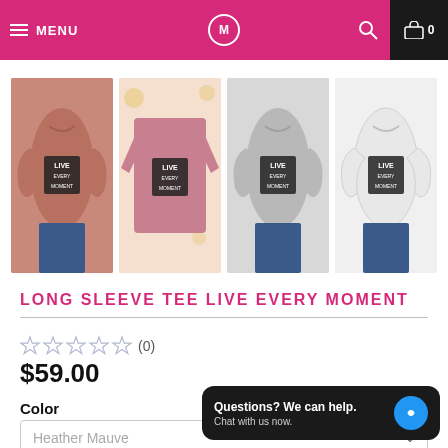MENU | [logo] | [search] | Cart 0
[Figure (photo): Four product thumbnail photos of long sleeve tee shirts in different colors (heather mauve/pink, flat lay pink, heather gray, white) each with LIVE EVERY MOMENT print]
LONG SLEEVE TEE LIVE EVERY MOMENT
★★★★★ (0)
$59.00
Color
Heather Mauve
Questions? We can help. Chat with us now.